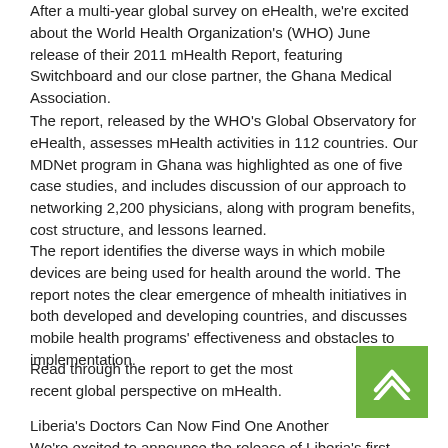After a multi-year global survey on eHealth, we're excited about the World Health Organization's (WHO) June release of their 2011 mHealth Report, featuring Switchboard and our close partner, the Ghana Medical Association.
The report, released by the WHO's Global Observatory for eHealth, assesses mHealth activities in 112 countries. Our MDNet program in Ghana was highlighted as one of five case studies, and includes discussion of our approach to networking 2,200 physicians, along with program benefits, cost structure, and lessons learned.
The report identifies the diverse ways in which mobile devices are being used for health around the world. The report notes the clear emergence of mhealth initiatives in both developed and developing countries, and discusses mobile health programs' effectiveness and obstacles to implementation.
Read through the report to get the most recent global perspective on mHealth.
Liberia's Doctors Can Now Find One Another
We're excited to announce the release of Liberia's first-ever Doctor Directory.